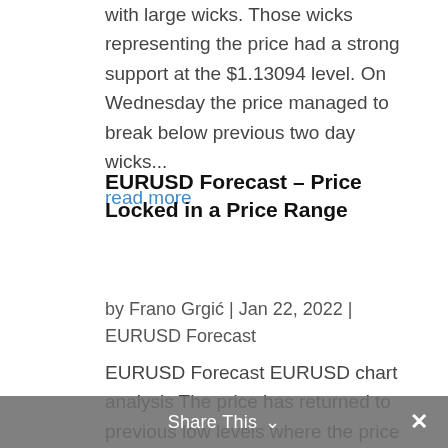with large wicks. Those wicks representing the price had a strong support at the $1.13094 level. On Wednesday the price managed to break below previous two day wicks...
read more
EURUSD Forecast – Price Locked in a Price Range
by Frano Grgić | Jan 22, 2022 | EURUSD Forecast
EURUSD Forecast EURUSD chart analysis The price has returned to previous low levels where the price range was holding the price for almost two months. The price range is from $1.12645 to $1.13427. Week started
Share This ∨ ✕